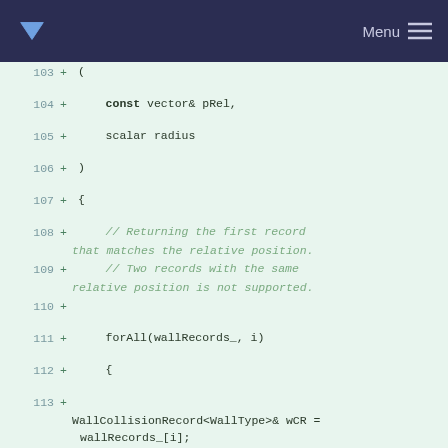Menu
[Figure (screenshot): Code diff view showing lines 103-118 of C++ source code with added lines (marked with +) on green background. Shows a function signature with const vector& pRel and scalar radius parameters, followed by a body with forAll loop over wallRecords_, creating WallCollisionRecord<WallType>& wCR reference, and checking wCR.match(pRel, radius) with wCR.setAccessed() call.]